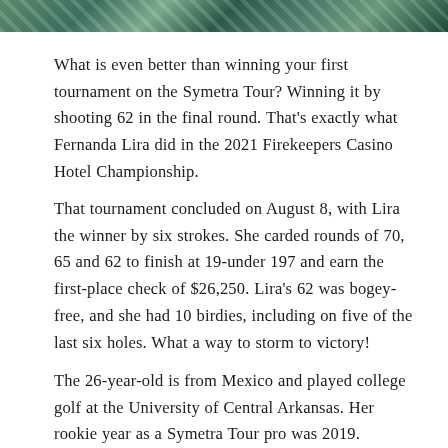[Figure (photo): Partial photo strip at the top of the page showing a colorful outdoor scene, cropped]
What is even better than winning your first tournament on the Symetra Tour? Winning it by shooting 62 in the final round. That's exactly what Fernanda Lira did in the 2021 Firekeepers Casino Hotel Championship.
That tournament concluded on August 8, with Lira the winner by six strokes. She carded rounds of 70, 65 and 62 to finish at 19-under 197 and earn the first-place check of $26,250. Lira's 62 was bogey-free, and she had 10 birdies, including on five of the last six holes. What a way to storm to victory!
The 26-year-old is from Mexico and played college golf at the University of Central Arkansas. Her rookie year as a Symetra Tour pro was 2019.